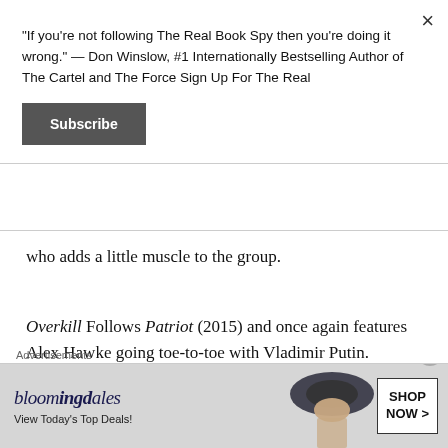"If you're not following The Real Book Spy then you're doing it wrong." — Don Winslow, #1 Internationally Bestselling Author of The Cartel and The Force Sign Up For The Real
Subscribe
who adds a little muscle to the group.
Overkill Follows Patriot (2015) and once again features Alex Hawke going toe-to-toe with Vladimir Putin. Longtime fans will remember Hawke and Putin meeting in Bell's TSAR, a book that's made especially noteworthy by the fact that Bell introdu...
Advertisements
[Figure (screenshot): Bloomingdale's advertisement banner showing 'bloomingdales View Today's Top Deals!' with a woman in a hat and 'SHOP NOW >' button]